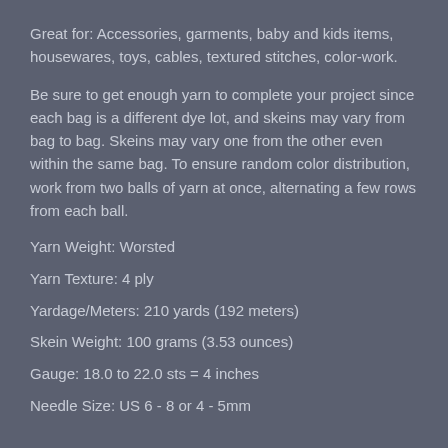Great for: Accessories, garments, baby and kids items, housewares, toys, cables, textured stitches, color-work.
Be sure to get enough yarn to complete your project since each bag is a different dye lot, and skeins may vary from bag to bag. Skeins may vary one from the other even within the same bag. To ensure random color distribution, work from two balls of yarn at once, alternating a few rows from each ball.
Yarn Weight: Worsted
Yarn Texture: 4 ply
Yardage/Meters: 210 yards (192 meters)
Skein Weight: 100 grams (3.53 ounces)
Gauge: 18.0 to 22.0 sts = 4 inches
Needle Size: US 6 - 8 or 4 - 5mm